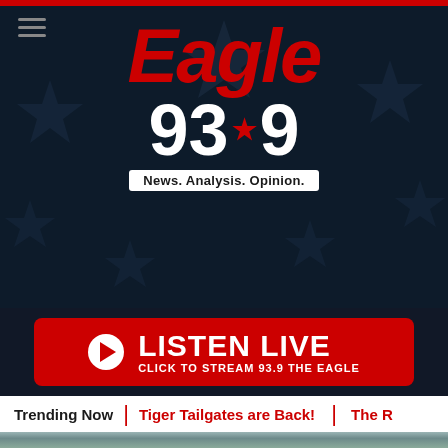[Figure (logo): Eagle 93.9 radio station logo with red Eagle text, white 93.9 frequency with red star, and white tagline box reading 'News. Analysis. Opinion.' on a dark navy background with star pattern]
[Figure (screenshot): Red 'LISTEN LIVE' button with play icon circle and subtitle 'CLICK TO STREAM 93.9 THE EAGLE']
Trending Now | Tiger Tailgates are Back! | The R
[Figure (photo): Outdoor photo showing people at a public event, appears to be a government official speaking at a podium with a woman and others nearby, playground equipment visible in background]